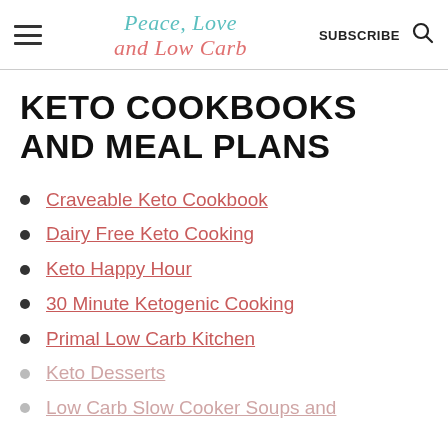Peace, Love and Low Carb — SUBSCRIBE
KETO COOKBOOKS AND MEAL PLANS
Craveable Keto Cookbook
Dairy Free Keto Cooking
Keto Happy Hour
30 Minute Ketogenic Cooking
Primal Low Carb Kitchen
Keto Desserts
Low Carb Slow Cooker Soups and